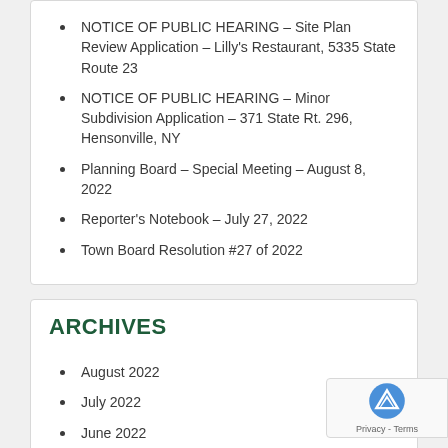NOTICE OF PUBLIC HEARING – Site Plan Review Application – Lilly's Restaurant, 5335 State Route 23
NOTICE OF PUBLIC HEARING – Minor Subdivision Application – 371 State Rt. 296, Hensonville, NY
Planning Board – Special Meeting – August 8, 2022
Reporter's Notebook – July 27, 2022
Town Board Resolution #27 of 2022
ARCHIVES
August 2022
July 2022
June 2022
May 2022
April 2022